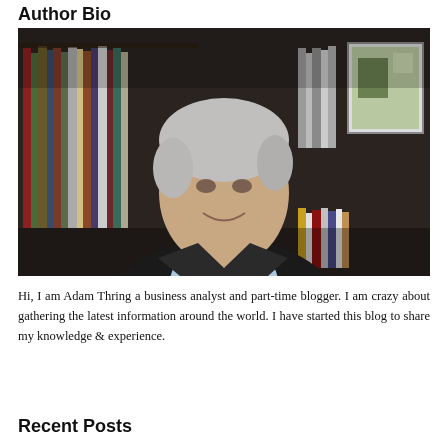Author Bio
[Figure (photo): Portrait photo of a middle-aged man with grey hair, smiling, wearing a dark blazer and light blue shirt, seated in front of a bookshelf with books and framed pictures in the background.]
Hi, I am Adam Thring a business analyst and part-time blogger. I am crazy about gathering the latest information around the world. I have started this blog to share my knowledge & experience.
Recent Posts